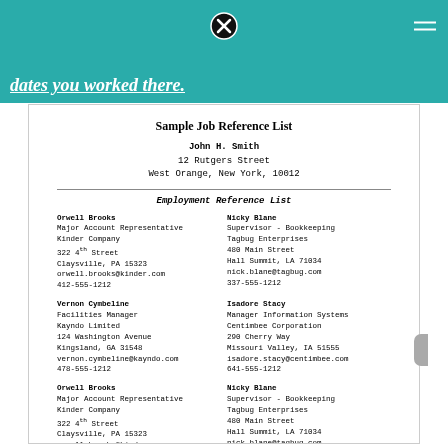dates you worked there.
Sample Job Reference List
John H. Smith
12 Rutgers Street
West Orange, New York, 10012
Employment Reference List
Orwell Brooks
Major Account Representative
Kinder Company
322 4th Street
Claysville, PA 15323
orwell.brooks@kinder.com
412-555-1212
Nicky Blane
Supervisor - Bookkeeping
Tagbug Enterprises
480 Main Street
Hall Summit, LA 71034
nick.blane@tagbug.com
337-555-1212
Vernon Cymbeline
Facilities Manager
Kayndo Limited
124 Washington Avenue
Kingsland, GA 31548
vernon.cymbeline@kayndo.com
478-555-1212
Isadore Stacy
Manager Information Systems
Centimbee Corporation
290 Cherry Way
Missouri Valley, IA 51555
isadore.stacy@centimbee.com
641-555-1212
Orwell Brooks
Major Account Representative
Kinder Company
322 4th Street
Claysville, PA 15323
orwell.brooks@kinder.com
412-555-1212
Nicky Blane
Supervisor - Bookkeeping
Tagbug Enterprises
480 Main Street
Hall Summit, LA 71034
nick.blane@tagbug.com
337-555-1212
Vernon Cymbeline
Facilities Manager
Kayndo Limited
Isadore Stacy
Manager Information Systems
Centimbee Corporation